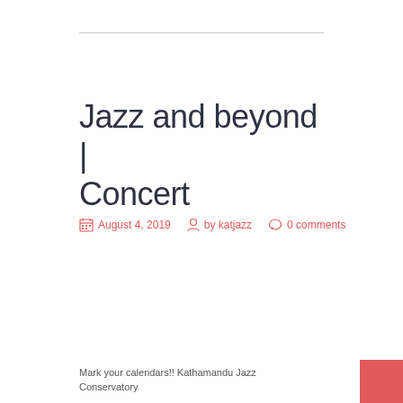Jazz and beyond | Concert
August 4, 2019   by katjazz   0 comments
Mark your calendars!! Kathamandu Jazz Conservatory